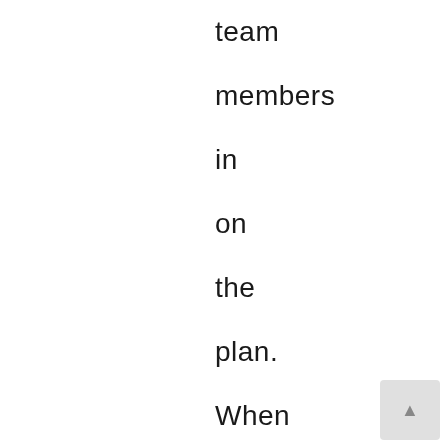team members in on the plan. When adequately